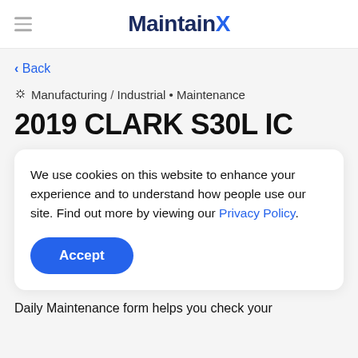MaintainX
< Back
Manufacturing / Industrial • Maintenance
2019 CLARK S30L IC
We use cookies on this website to enhance your experience and to understand how people use our site. Find out more by viewing our Privacy Policy.
Accept
Daily Maintenance form helps you check your